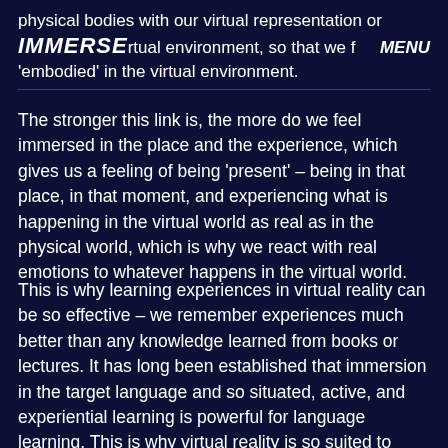physical bodies with our virtual representation or IMMERSE rtual environment, so that we f MENU 'embodied' in the virtual environment.
The stronger this link is, the more do we feel immersed in the place and the experience, which gives us a feeling of being 'present' – being in that place, in that moment, and experiencing what is happening in the virtual world as real as in the physical world, which is why we react with real emotions to whatever happens in the virtual world.
This is why learning experiences in virtual reality can be so effective – we remember experiences much better than any knowledge learned from books or lectures. It has long been established that immersion in the target language and so situated, active, and experiential learning is powerful for language learning. This is why virtual reality is so suited to language